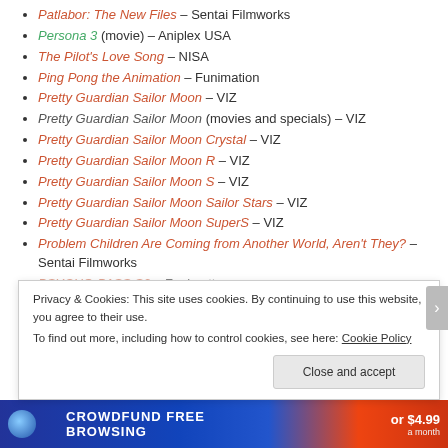Patlabor: The New Files – Sentai Filmworks
Persona 3 (movie) – Aniplex USA
The Pilot's Love Song – NISA
Ping Pong the Animation – Funimation
Pretty Guardian Sailor Moon – VIZ
Pretty Guardian Sailor Moon (movies and specials) – VIZ
Pretty Guardian Sailor Moon Crystal – VIZ
Pretty Guardian Sailor Moon R – VIZ
Pretty Guardian Sailor Moon S – VIZ
Pretty Guardian Sailor Moon Sailor Stars – VIZ
Pretty Guardian Sailor Moon SuperS – VIZ
Problem Children Are Coming from Another World, Aren't They? – Sentai Filmworks
PSYCHO-PASS S2 – Funimation
Privacy & Cookies: This site uses cookies. By continuing to use this website, you agree to their use. To find out more, including how to control cookies, see here: Cookie Policy
[Figure (other): Ad banner for crowdfunded browsing, showing price $4.99 a month]